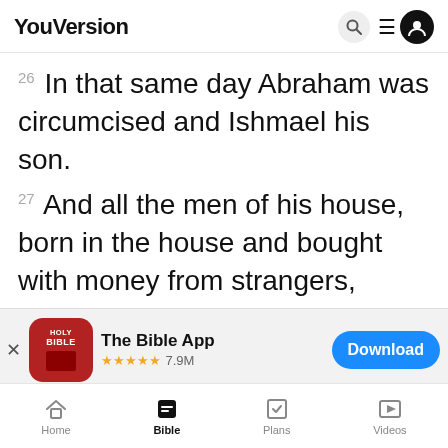YouVersion
20 In that same day Abraham was circumcised and Ishmael his son.
27 And all the men of his house, born in the house and bought with money from strangers,
[Figure (screenshot): The Bible App banner with icon, 5-star rating 7.9M, Download button]
YouVersion uses cookies to personalize your experience. By using our website, you accept our use of cookies as described in our Privacy Policy.
Home  Bible  Plans  Videos